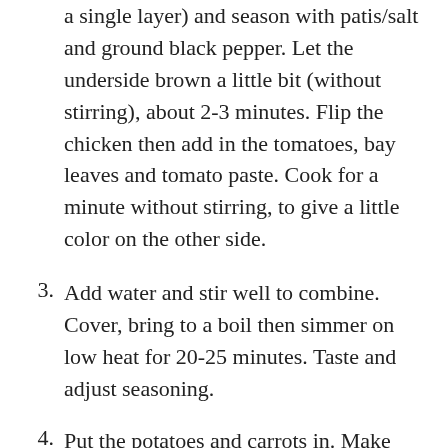a single layer) and season with patis/salt and ground black pepper. Let the underside brown a little bit (without stirring), about 2-3 minutes. Flip the chicken then add in the tomatoes, bay leaves and tomato paste. Cook for a minute without stirring, to give a little color on the other side.
3. Add water and stir well to combine. Cover, bring to a boil then simmer on low heat for 20-25 minutes. Taste and adjust seasoning.
4. Put the potatoes and carrots in. Make sure most of the vegetables are submerged in the liquid to absorb